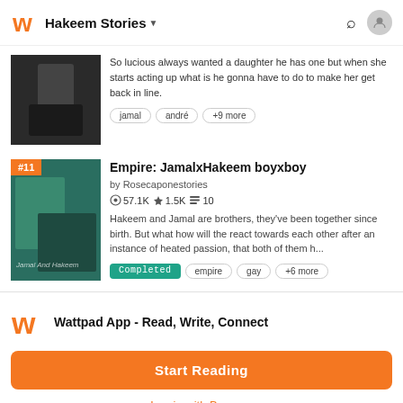Hakeem Stories
So lucious always wanted a daughter he has one but when she starts acting up what is he gonna have to do to make her get back in line.
jamal  andré  +9 more
Empire: JamalxHakeem boyxboy
by Rosecaponestories
57.1K ★1.5K 10
Hakeem and Jamal are brothers, they've been together since birth. But what how will the react towards each other after an instance of heated passion, that both of them h...
Completed  empire  gay  +6 more
Wattpad App - Read, Write, Connect
Start Reading
Log in with Browser